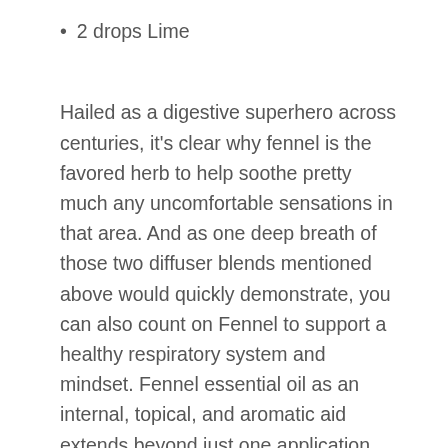2 drops Lime
Hailed as a digestive superhero across centuries, it's clear why fennel is the favored herb to help soothe pretty much any uncomfortable sensations in that area. And as one deep breath of those two diffuser blends mentioned above would quickly demonstrate, you can also count on Fennel to support a healthy respiratory system and mindset. Fennel essential oil as an internal, topical, and aromatic aid extends beyond just one application, and it brings a distinctively sweet note of licorice wherever it goes. Used for centuries, supportive of digestive